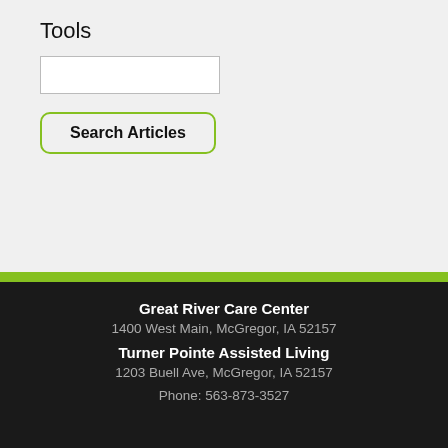Tools
Search Articles
Great River Care Center
1400 West Main, McGregor, IA 52157
Turner Pointe Assisted Living
1203 Buell Ave, McGregor, IA 52157
Phone: 563-873-3527